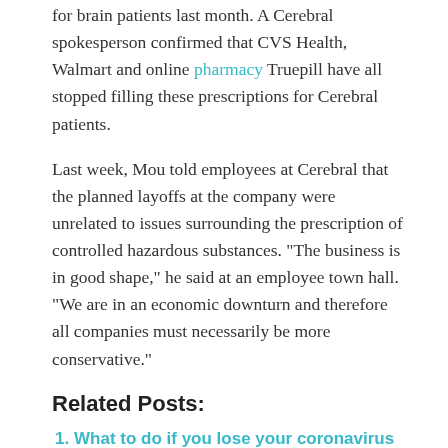for brain patients last month. A Cerebral spokesperson confirmed that CVS Health, Walmart and online pharmacy Truepill have all stopped filling these prescriptions for Cerebral patients.
Last week, Mou told employees at Cerebral that the planned layoffs at the company were unrelated to issues surrounding the prescription of controlled hazardous substances. "The business is in good shape," he said at an employee town hall. "We are in an economic downturn and therefore all companies must necessarily be more conservative."
Related Posts:
What to do if you lose your coronavirus vaccine card – and how to be more careful next time – Times-Herald
Online Pharmacy Market Growth Outlook, Competitive Landscape, Future Scenario and Forecast to 2031 | Well.ca, The Kroger Co., The Walgreen Company, Express Scripts Holding Company, CVS Health, Zur Rose Group AG, Giant Eagle, Inc., Pharmacy2U Limited, Walmart Stores – KSU
Valor Compounding Pharmacy ™ will be featured on WEtv on